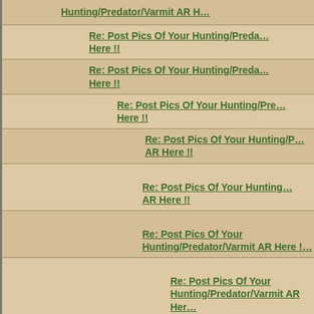Hunting/Predator/Varmit AR Here !!
Re: Post Pics Of Your Hunting/Predator/Varmit AR Here !!
Re: Post Pics Of Your Hunting/Predator/Varmit AR Here !!
Re: Post Pics Of Your Hunting/Predator/Varmit AR Here !!
Re: Post Pics Of Your Hunting/Predator/Varmit AR Here !!
Re: Post Pics Of Your Hunting/Predator/Varmit AR Here !!
Re: Post Pics Of Your Hunting/Predator/Varmit AR Here !!
Re: Post Pics Of Your Hunting/Predator/Varmit AR Here !!
Re: Post Pics Of Your Hunting/Predator/Varmit AR Here !!
Re: Post Pics Of Your Hunting/Predator/Varmit AR Here !!
Re: Post Pics Of Your Hunting/Predator/Varmit AR Here !!
Re: Post Pics Of Your Hunting/Predator/Varmit AR Here !!